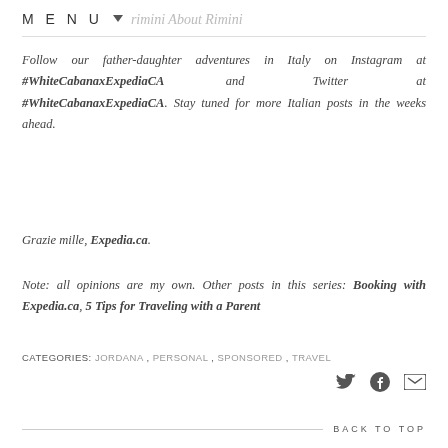MENU
Follow our father-daughter adventures in Italy on Instagram at #WhiteCabanaxExpediaCA and Twitter at #WhiteCabanaxExpediaCA. Stay tuned for more Italian posts in the weeks ahead.
Grazie mille, Expedia.ca.
Note: all opinions are my own. Other posts in this series: Booking with Expedia.ca, 5 Tips for Traveling with a Parent
CATEGORIES: JORDANA, PERSONAL, SPONSORED, TRAVEL
BACK TO TOP